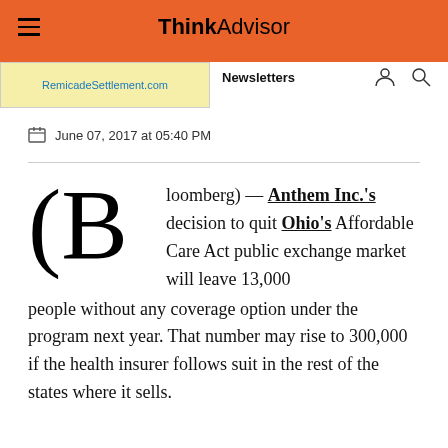ThinkAdvisor
[Figure (other): Advertisement banner: RemicadeSettlement.com]
Newsletters
June 07, 2017 at 05:40 PM
(Bloomberg) — Anthem Inc.'s decision to quit Ohio's Affordable Care Act public exchange market will leave 13,000 people without any coverage option under the program next year. That number may rise to 300,000 if the health insurer follows suit in the rest of the states where it sells.